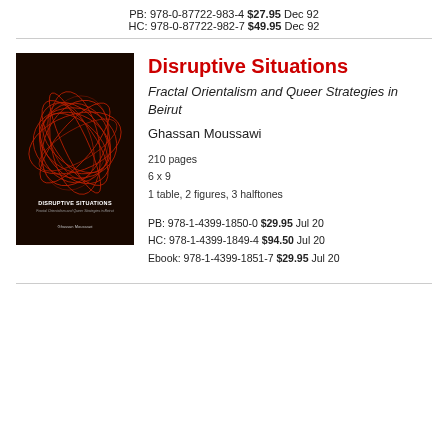PB: 978-0-87722-983-4 $27.95 Dec 92
HC: 978-0-87722-982-7 $49.95 Dec 92
[Figure (illustration): Book cover of 'Disruptive Situations: Fractal Orientalism and Queer Strategies in Beirut' by Ghassan Moussawi. Dark background with red swirling lines forming an abstract pattern.]
Disruptive Situations
Fractal Orientalism and Queer Strategies in Beirut
Ghassan Moussawi
210 pages
6 x 9
1 table, 2 figures, 3 halftones
PB: 978-1-4399-1850-0 $29.95 Jul 20
HC: 978-1-4399-1849-4 $94.50 Jul 20
Ebook: 978-1-4399-1851-7 $29.95 Jul 20